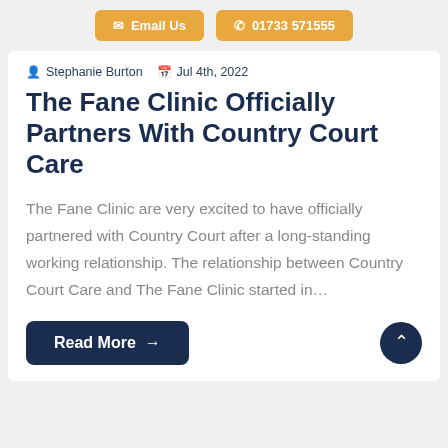Email Us   01733 571555
Stephanie Burton   Jul 4th, 2022
The Fane Clinic Officially Partners With Country Court Care
The Fane Clinic are very excited to have officially partnered with Country Court after a long-standing working relationship. The relationship between Country Court Care and The Fane Clinic started in…
Read More →